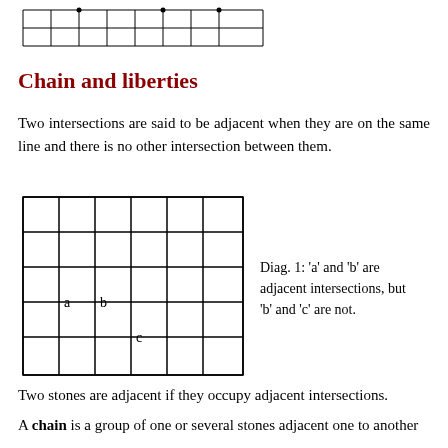[Figure (other): Partial grid diagram at top of page with dots marking intersections]
Chain and liberties
Two intersections are said to be adjacent when they are on the same line and there is no other intersection between them.
[Figure (other): Go board grid diagram showing labeled intersections a, b, and c where a and b are on the same horizontal line adjacent to each other, and c is one row below b]
Diag. 1: 'a' and 'b' are adjacent intersections, but 'b' and 'c' are not.
Two stones are adjacent if they occupy adjacent intersections.
A chain is a group of one or several stones adjacent one to another